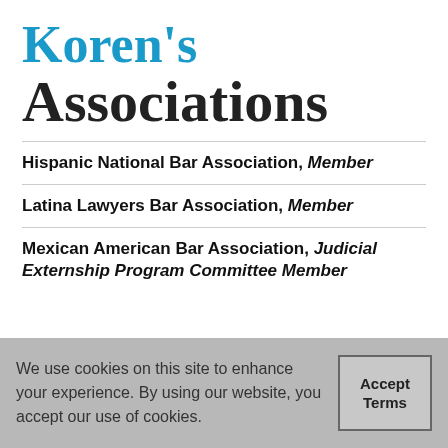Koren's Associations
Hispanic National Bar Association, Member
Latina Lawyers Bar Association, Member
Mexican American Bar Association, Judicial Externship Program Committee Member
We use cookies on this site to enhance your experience. By using our website, you accept our use of cookies.